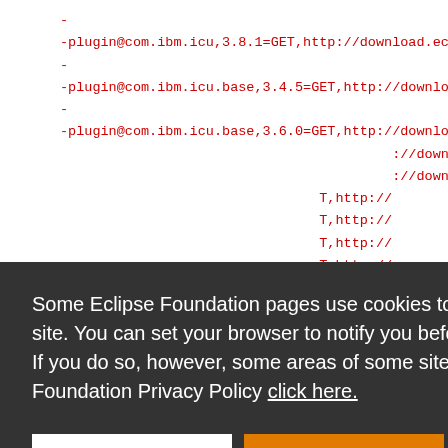-
-plugin@com.ibm.icu,3.8.1=GET,http://download.ec
-
-plugin@com.ibm.icu.base,3.4.5=GET,http://downloa
-
-plugin@com.ibm.icu.base,3.6.0=GET,http://downloa
//downloa
//downloa
T,http://
T,http://
T,http://
T,http://
o://downl
o://downl
-plugin@com.ibm.icu.source,3.6.1=GET,http://dow
Some Eclipse Foundation pages use cookies to better serve you when you return to the site. You can set your browser to notify you before you receive a cookie or turn off cookies. If you do so, however, some areas of some sites may not function properly. To read Eclipse Foundation Privacy Policy click here.
Decline
Allow cookies